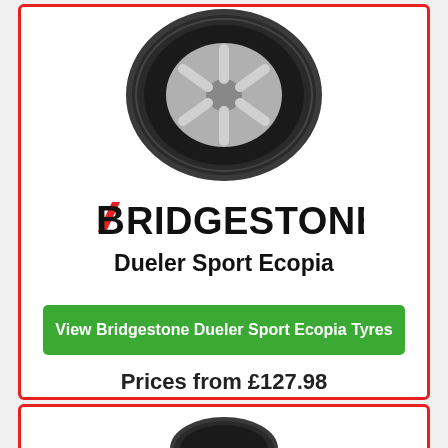[Figure (photo): Bridgestone Dueler Sport Ecopia tyre product photo, top view of tyre with chrome rim]
[Figure (logo): Bridgestone logo in black bold text with red chevron/slash accent on the B]
Dueler Sport Ecopia
View Bridgestone Dueler Sport Ecopia Tyres
Prices from £127.98
[Figure (photo): Partial tyre product photo at bottom of page in second card]